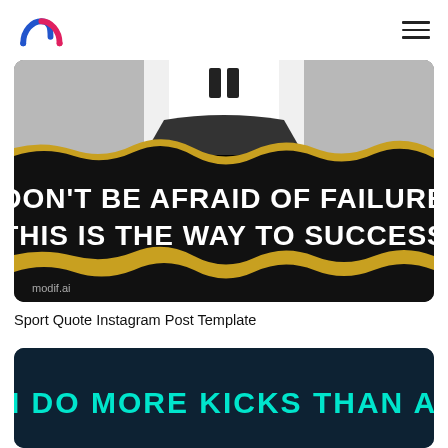modif.ai logo and navigation
[Figure (screenshot): Instagram post template with black background and torn paper effect with gold trim. Large white bold text reads: DON'T BE AFRAID OF FAILURE THIS IS THE WAY TO SUCCESS. Bottom left shows 'modif.ai' watermark. Top portion shows a black-and-white photo of a person in athletic wear.]
Sport Quote Instagram Post Template
[Figure (screenshot): Dark blue Instagram post template with partial text visible: I DO MORE KICKS THAN A]